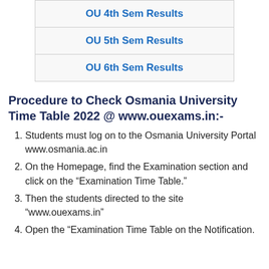| OU 4th Sem Results |
| OU 5th Sem Results |
| OU 6th Sem Results |
Procedure to Check Osmania University Time Table 2022 @ www.ouexams.in:-
Students must log on to the Osmania University Portal www.osmania.ac.in
On the Homepage, find the Examination section and click on the “Examination Time Table.”
Then the students directed to the site “www.ouexams.in”
Open the “Examination Time Table on the Notification.